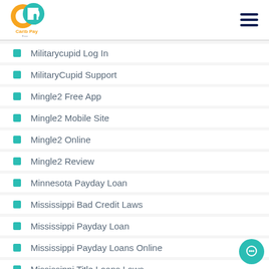[Figure (logo): Carib Pay App logo — interlocking orange and teal C and P letters with text 'Carib Pay App']
Militarycupid Log In
MilitaryCupid Support
Mingle2 Free App
Mingle2 Mobile Site
Mingle2 Online
Mingle2 Review
Minnesota Payday Loan
Mississippi Bad Credit Laws
Mississippi Payday Loan
Mississippi Payday Loans Online
Mississippi Title Loans Laws